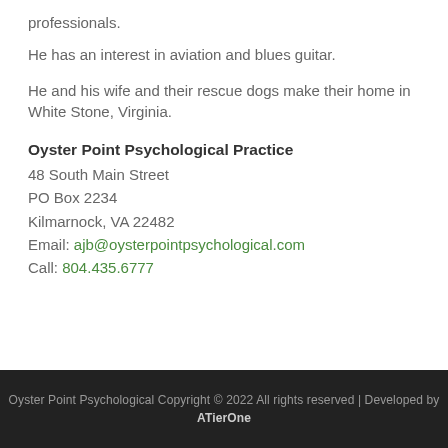professionals.
He has an interest in aviation and blues guitar.
He and his wife and their rescue dogs make their home in White Stone, Virginia.
Oyster Point Psychological Practice
48 South Main Street
PO Box 2234
Kilmarnock, VA 22482
Email: ajb@oysterpointpsychological.com
Call: 804.435.6777
Oyster Point Psychological Copyright © 2022 All rights reserved | Developed by ATierOne